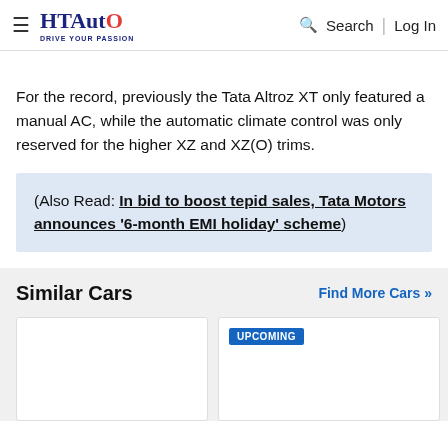HT Auto — Drive Your Passion | Search | Log In
For the record, previously the Tata Altroz XT only featured a manual AC, while the automatic climate control was only reserved for the higher XZ and XZ(O) trims.
(Also Read: In bid to boost tepid sales, Tata Motors announces '6-month EMI holiday' scheme)
Similar Cars
Find More Cars >>
[Figure (other): Two car listing cards, the second labeled UPCOMING, in a Similar Cars section]
UPCOMING